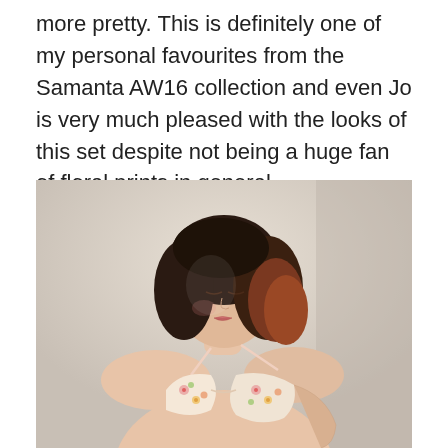more pretty. This is definitely one of my personal favourites from the Samanta AW16 collection and even Jo is very much pleased with the looks of this set despite not being a huge fan of floral prints in general.
[Figure (photo): A woman with shoulder-length brown ombre hair looking downward, wearing a floral print bra in pale pink/peach with colorful flower details, photographed against a light beige/grey wall.]